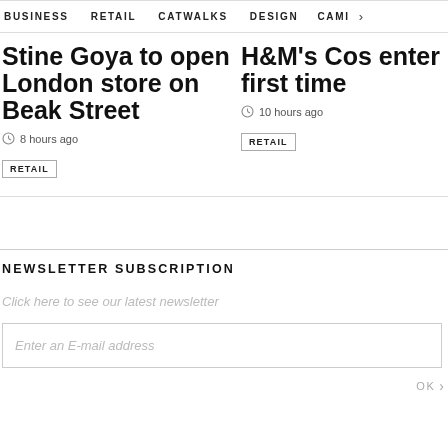BUSINESS   RETAIL   CATWALKS   DESIGN   CAMI >
Stine Goya to open London store on Beak Street
8 hours ago
RETAIL
H&M's Cos enter first time
10 hours ago
RETAIL
NEWSLETTER SUBSCRIPTION
Click here to see our latest newsletter
Enter an E-mail address
OK >